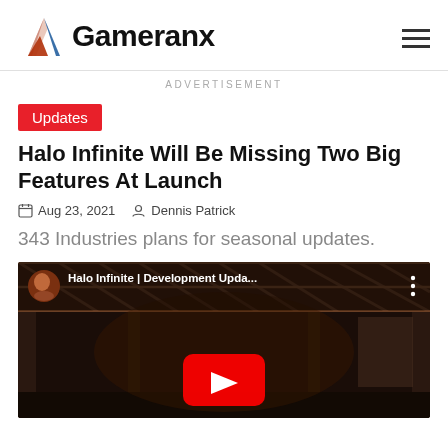Gameranx
ADVERTISEMENT
Updates
Halo Infinite Will Be Missing Two Big Features At Launch
Aug 23, 2021   Dennis Patrick
343 Industries plans for seasonal updates.
[Figure (screenshot): YouTube video thumbnail for 'Halo Infinite | Development Upda...' embedded video player with red play button]